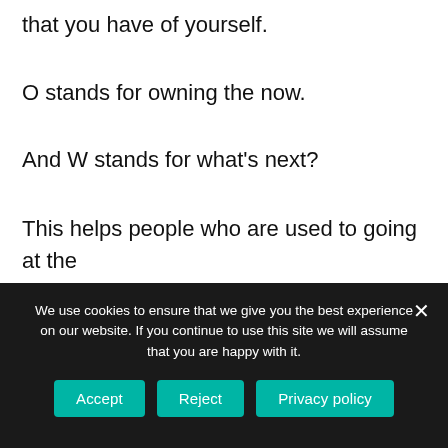that you have of yourself.
O stands for owning the now.
And W stands for what's next?
This helps people who are used to going at the speed beyond reality. Take a step back, lower those pressure and expectations, own what's happening right now in front of them so they can clearly see and
We use cookies to ensure that we give you the best experience on our website. If you continue to use this site we will assume that you are happy with it.